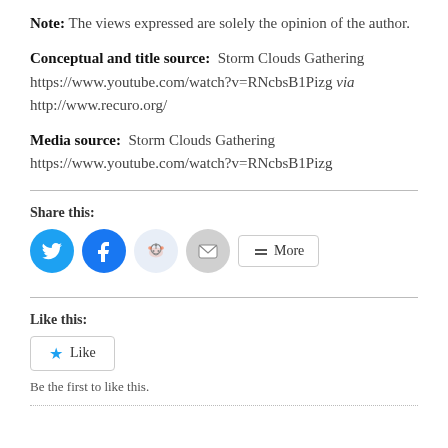Note: The views expressed are solely the opinion of the author.
Conceptual and title source:  Storm Clouds Gathering https://www.youtube.com/watch?v=RNcbsB1Pizg via http://www.recuro.org/
Media source:  Storm Clouds Gathering https://www.youtube.com/watch?v=RNcbsB1Pizg
Share this:
[Figure (infographic): Social share buttons: Twitter, Facebook, Reddit, Email, and More]
Like this:
[Figure (infographic): Like button widget]
Be the first to like this.